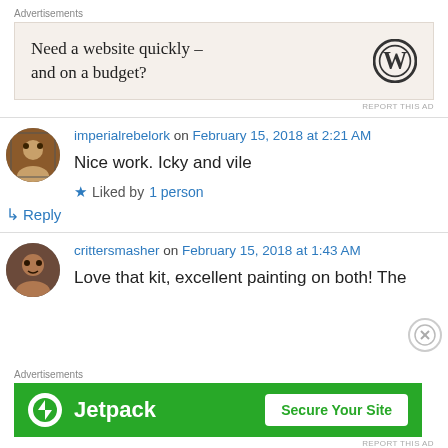Advertisements
[Figure (screenshot): WordPress ad banner: 'Need a website quickly – and on a budget?' with WordPress logo]
REPORT THIS AD
imperialrebelork on February 15, 2018 at 2:21 AM
Nice work. Icky and vile
Liked by 1 person
↳ Reply
crittersmasher on February 15, 2018 at 1:43 AM
Love that kit, excellent painting on both! The
Advertisements
[Figure (screenshot): Jetpack ad banner: 'Jetpack – Secure Your Site' on green background]